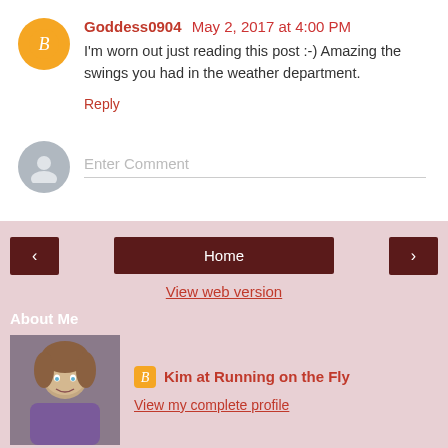Goddess0904  May 2, 2017 at 4:00 PM
I'm worn out just reading this post :-) Amazing the swings you had in the weather department.
Reply
Enter Comment
Home
View web version
About Me
Kim at Running on the Fly
View my complete profile
[Figure (photo): Profile photo of Kim, a woman smiling]